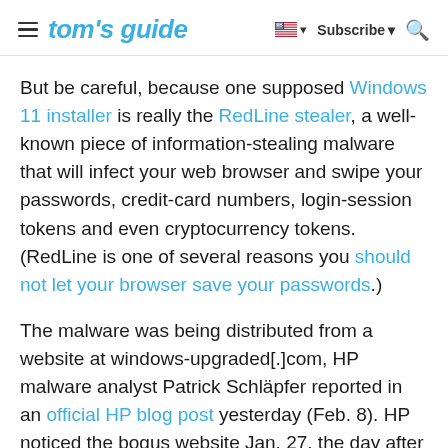tom's guide | Subscribe
But be careful, because one supposed Windows 11 installer is really the RedLine stealer, a well-known piece of information-stealing malware that will infect your web browser and swipe your passwords, credit-card numbers, login-session tokens and even cryptocurrency tokens. (RedLine is one of several reasons you should not let your browser save your passwords.)
The malware was being distributed from a website at windows-upgraded[.]com, HP malware analyst Patrick Schläpfer reported in an official HP blog post yesterday (Feb. 8). HP noticed the bogus website Jan. 27. the day after Microsoft announced that Windows